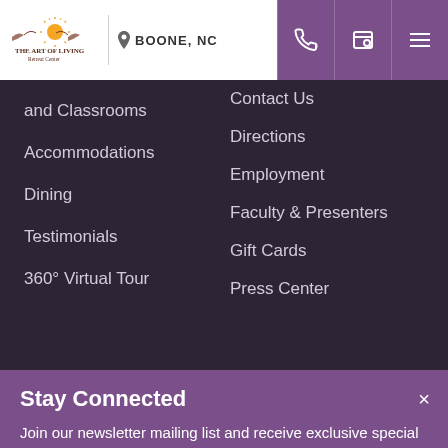[Figure (logo): The Art of Living Retreat Center logo with sun graphic]
BOONE, NC
and Classrooms
Accommodations
Dining
Testimonials
360° Virtual Tour
Contact Us
Directions
Employment
Faculty & Presenters
Gift Cards
Press Center
Stay Connected
Join our newsletter mailing list and receive exclusive special offers, updates, and the latest news directly to your inbox.
Sign Me Up!